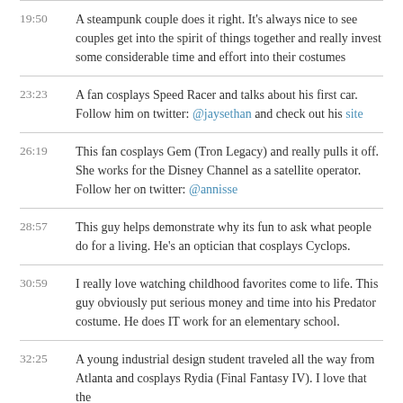19:50 A steampunk couple does it right. It's always nice to see couples get into the spirit of things together and really invest some considerable time and effort into their costumes
23:23 A fan cosplays Speed Racer and talks about his first car. Follow him on twitter: @jaysethan and check out his site
26:19 This fan cosplays Gem (Tron Legacy) and really pulls it off. She works for the Disney Channel as a satellite operator. Follow her on twitter: @annisse
28:57 This guy helps demonstrate why its fun to ask what people do for a living. He's an optician that cosplays Cyclops.
30:59 I really love watching childhood favorites come to life. This guy obviously put serious money and time into his Predator costume. He does IT work for an elementary school.
32:25 A young industrial design student traveled all the way from Atlanta and cosplays Rydia (Final Fantasy IV). I love that the